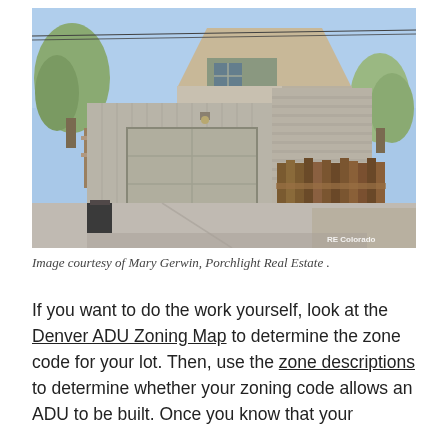[Figure (photo): Exterior photo of a residential property showing a detached garage with a large two-car door in the foreground, and a two-story house with A-frame dormer behind it. A wooden privacy fence runs along the right side. Trees and blue sky visible in the background. Watermark 'RE Colorado' visible in bottom-right corner.]
Image courtesy of Mary Gerwin, Porchlight Real Estate .
If you want to do the work yourself, look at the Denver ADU Zoning Map to determine the zone code for your lot. Then, use the zone descriptions to determine whether your zoning code allows an ADU to be built. Once you know that your